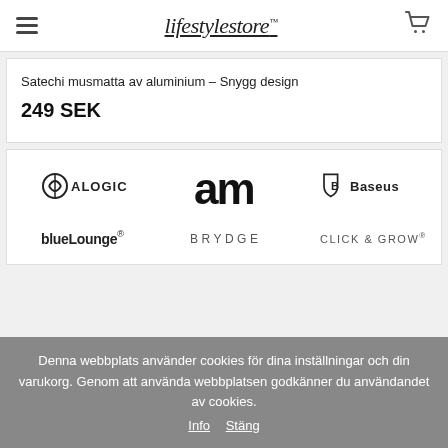lifestylestore
Satechi musmatta av aluminium – Snygg design
249 SEK
[Figure (logo): Brand logos: ALOGIC, am, Baseus, blueLounge, BRYDGE, CLICK & GROW]
Denna webbplats använder cookies för dina inställningar och din varukorg. Genom att använda webbplatsen godkänner du användandet av cookies. Info Stäng